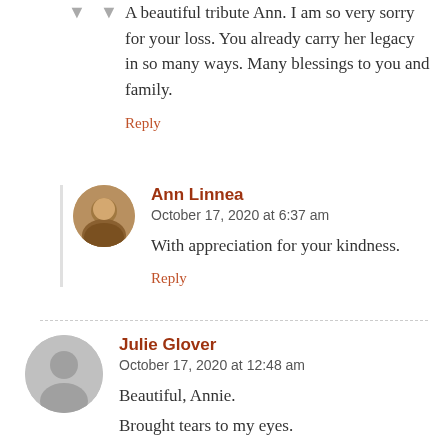A beautiful tribute Ann. I am so very sorry for your loss. You already carry her legacy in so many ways. Many blessings to you and family.
Reply
Ann Linnea
October 17, 2020 at 6:37 am
With appreciation for your kindness.
Reply
Julie Glover
October 17, 2020 at 12:48 am
Beautiful, Annie.
Brought tears to my eyes.
XO!
Reply